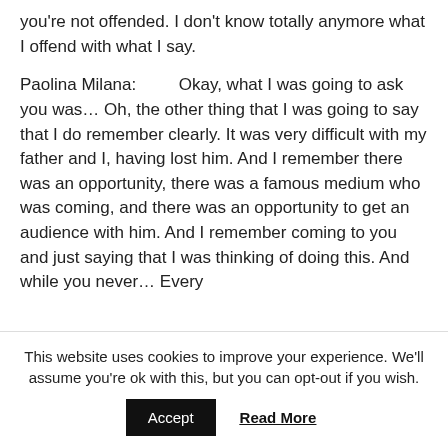you're not offended. I don't know totally anymore what I offend with what I say.
Paolina Milana:         Okay, what I was going to ask you was… Oh, the other thing that I was going to say that I do remember clearly. It was very difficult with my father and I, having lost him. And I remember there was an opportunity, there was a famous medium who was coming, and there was an opportunity to get an audience with him. And I remember coming to you and just saying that I was thinking of doing this. And while you never… Every
This website uses cookies to improve your experience. We'll assume you're ok with this, but you can opt-out if you wish.
Accept   Read More